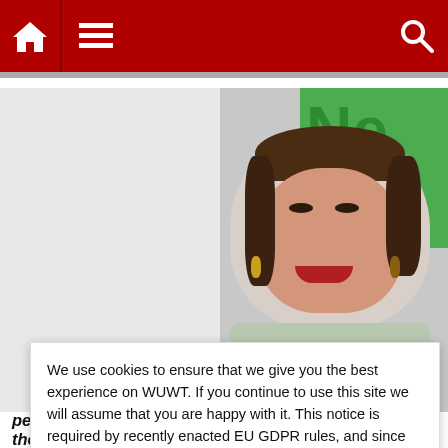Navigation bar with home, menu, and search icons
[Figure (photo): Portrait photo of a woman with dark hair pulled back, smiling, wearing hoop earrings. Green signage visible in background.]
CLIMATE POLITICS   GOVERNMENT IDIOCY
We use cookies to ensure that we give you the best experience on WUWT. If you continue to use this site we will assume that you are happy with it. This notice is required by recently enacted EU GDPR rules, and since WUWT is a globally read website, we need to keep the bureaucrats off our case! Cookie Policy
Close and accept
people in 43 countries face severe risk of starvation, the